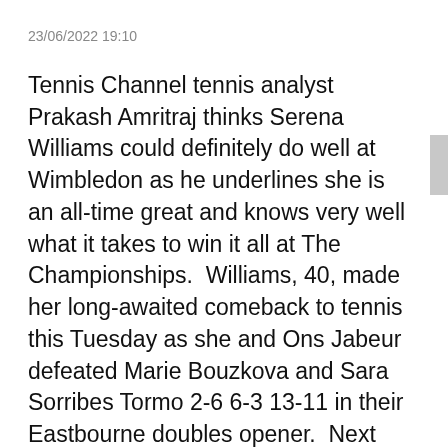23/06/2022 19:10
Tennis Channel tennis analyst Prakash Amritraj thinks Serena Williams could definitely do well at Wimbledon as he underlines she is an all-time great and knows very well what it takes to win it all at The Championships.  Williams, 40, made her long-awaited comeback to tennis this Tuesday as she and Ons Jabeur defeated Marie Bouzkova and Sara Sorribes Tormo 2-6 6-3 13-11 in their Eastbourne doubles opener.  Next week, Williams will play her first singles match in 12 months but Amritraj warns the American can't be underestimated.  "It is just chills to see her back on the court which is beautiful and as expected,